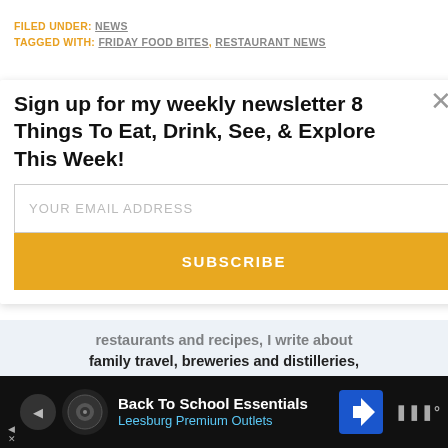FILED UNDER: NEWS
TAGGED WITH: FRIDAY FOOD BITES, RESTAURANT NEWS
Sign up for my weekly newsletter 8 Things To Eat, Drink, See, & Explore This Week!
YOUR EMAIL ADDRESS
SUBSCRIBE
restaurants and recipes, I write about family travel, breweries and distilleries, the arts, outdoor fun, and so much more
[Figure (screenshot): Advertisement bar at bottom: Back To School Essentials, Leesburg Premium Outlets]